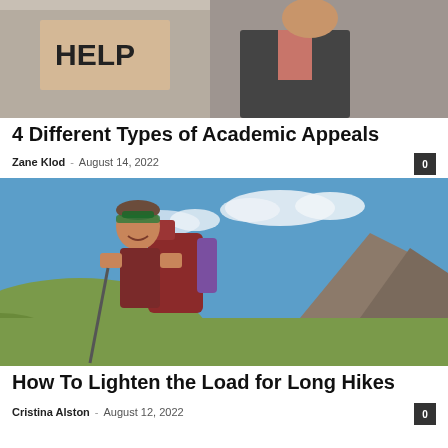[Figure (photo): Person holding a cardboard sign that says HELP, with a man in a suit in the background]
4 Different Types of Academic Appeals
Zane Klod – August 14, 2022
[Figure (photo): Woman hiker with a large backpack smiling in a mountainous landscape with blue sky and clouds]
How To Lighten the Load for Long Hikes
Cristina Alston – August 12, 2022